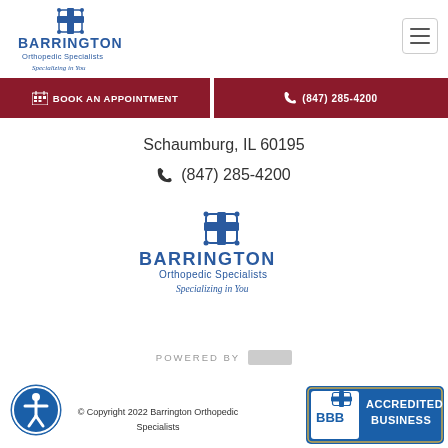[Figure (logo): Barrington Orthopedic Specialists logo top-left with cross icon and 'Specializing in You' tagline]
[Figure (other): Hamburger menu button top-right]
BOOK AN APPOINTMENT
(847) 285-4200
Schaumburg, IL 60195
(847) 285-4200
[Figure (logo): Barrington Orthopedic Specialists center logo with cross icon and 'Specializing in You' tagline]
POWERED BY
© Copyright 2022 Barrington Orthopedic Specialists
[Figure (logo): BBB Accredited Business badge]
[Figure (logo): Accessibility icon - person with circle]